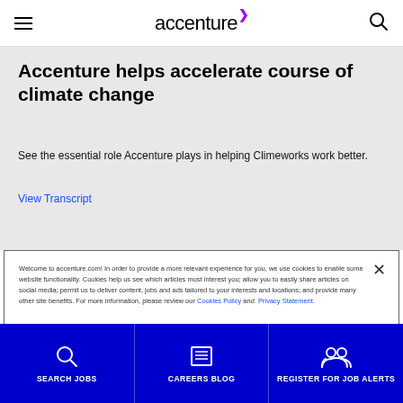accenture (logo with purple arrow)
Accenture helps accelerate course of climate change
See the essential role Accenture plays in helping Climeworks work better.
View Transcript
Welcome to accenture.com! In order to provide a more relevant experience for you, we use cookies to enable some website functionality. Cookies help us see which articles most interest you; allow you to easily share articles on social media; permit us to deliver content, jobs and ads tailored to your interests and locations; and provide many other site benefits. For more information, please review our Cookies Policy and Privacy Statement.
Cookies Settings
SEARCH JOBS | CAREERS BLOG | REGISTER FOR JOB ALERTS